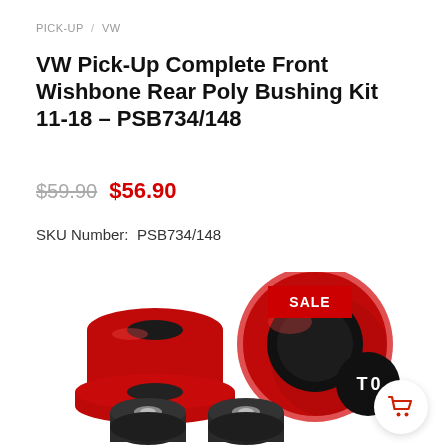PICK-UP / VW
VW Pick-Up Complete Front Wishbone Rear Poly Bushing Kit 11-18 – PSB734/148
$59.90 $56.90
SKU Number:  PSB734/148
[Figure (photo): Product photo of red and black polyurethane bushings: two large red cylindrical bushings shown at top (one from side, one from front showing black center bore), and two smaller black metal bushings at bottom. A red SALE badge is overlaid on the top-right bushing.]